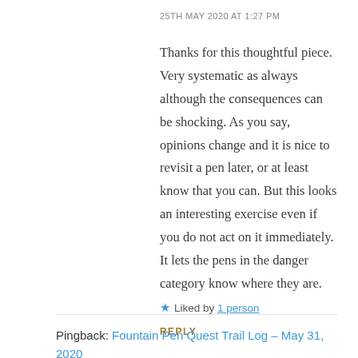25TH MAY 2020 AT 1:27 PM
Thanks for this thoughtful piece. Very systematic as always although the consequences can be shocking. As you say, opinions change and it is nice to revisit a pen later, or at least know that you can. But this looks an interesting exercise even if you do not act on it immediately. It lets the pens in the danger category know where they are.
Liked by 1 person
REPLY
Pingback: Fountain Pen Quest Trail Log – May 31, 2020 | Fountain Pen Quest